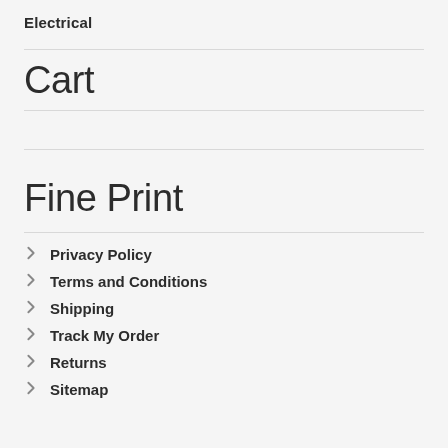Electrical
Cart
Fine Print
Privacy Policy
Terms and Conditions
Shipping
Track My Order
Returns
Sitemap